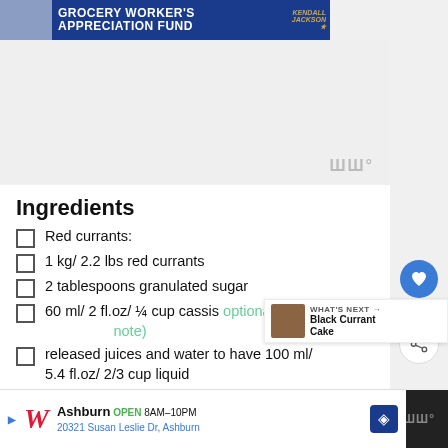[Figure (screenshot): Top banner advertisement for Grocery Worker's Appreciation Fund with Kendall Jackson logo]
[Figure (screenshot): Gray advertisement space with watermark]
Ingredients
Red currants:
1 kg/ 2.2 lbs red currants
2 tablespoons granulated sugar
60 ml/ 2 fl.oz/ ¼ cup cassis optional (See note)
released juices and water to have 100 ml/ 5.4 fl.oz/ 2/3 cup liquid
[Figure (screenshot): What's Next sidebar showing Black Currant Cake]
[Figure (screenshot): Bottom Walgreens advertisement: Ashburn OPEN 8AM-10PM, 20321 Susan Leslie Dr, Ashburn]